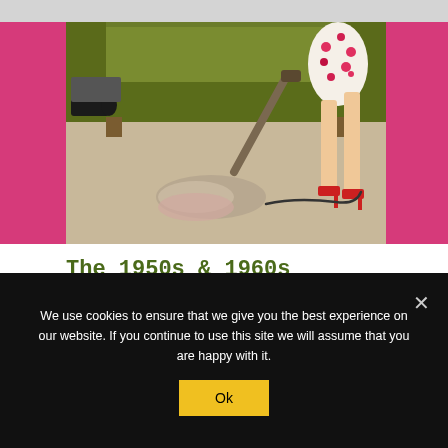[Figure (photo): A retro 1950s/1960s scene showing a woman in a floral dress vacuuming the carpet in front of a green couch, with a man slouched on the couch. Pink decorative borders flank the image on both sides.]
The 1950s & 1960s Housewives in Fiction
No Comments
We use cookies to ensure that we give you the best experience on our website. If you continue to use this site we will assume that you are happy with it.